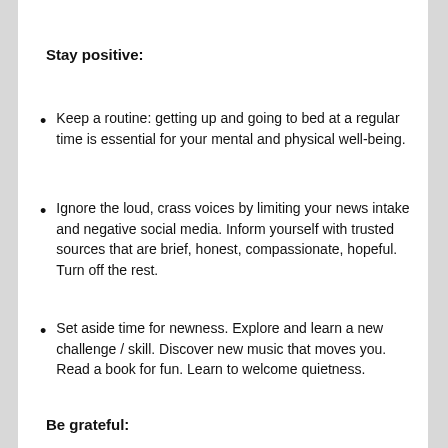Stay positive:
Keep a routine: getting up and going to bed at a regular time is essential for your mental and physical well-being.
Ignore the loud, crass voices by limiting your news intake and negative social media. Inform yourself with trusted sources that are brief, honest, compassionate, hopeful. Turn off the rest.
Set aside time for newness. Explore and learn a new challenge / skill. Discover new music that moves you. Read a book for fun. Learn to welcome quietness.
Be grateful: